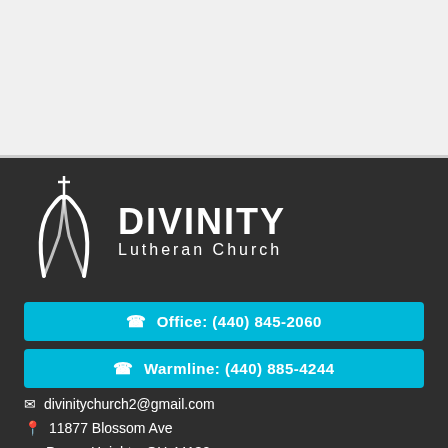[Figure (logo): Divinity Lutheran Church logo with stylized cross and arched figure in white on dark background, with text DIVINITY Lutheran Church]
Office: (440) 845-2060
Warmline: (440) 885-4244
divinitychurch2@gmail.com
11877 Blossom Ave
Parma Heights, OH 44130